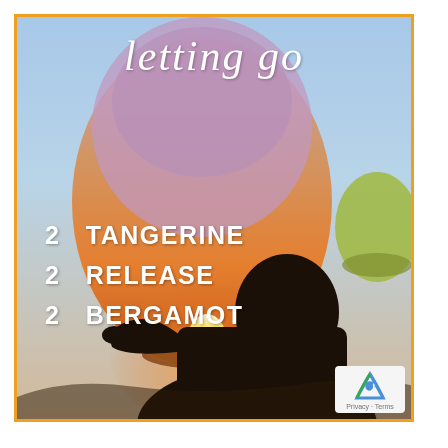[Figure (photo): A child silhouetted against a twilight sky, holding a glowing sky lantern with flame at the bottom; a green lantern visible on the right side.]
letting go
2  TANGERINE
2  RELEASE
2  BERGAMOT
Privacy · Terms